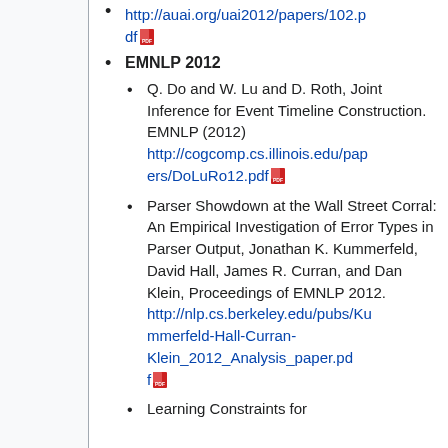http://auai.org/uai2012/papers/102.pdf [pdf icon]
EMNLP 2012
Q. Do and W. Lu and D. Roth, Joint Inference for Event Timeline Construction. EMNLP (2012) http://cogcomp.cs.illinois.edu/papers/DoLuRo12.pdf [pdf icon]
Parser Showdown at the Wall Street Corral: An Empirical Investigation of Error Types in Parser Output, Jonathan K. Kummerfeld, David Hall, James R. Curran, and Dan Klein, Proceedings of EMNLP 2012. http://nlp.cs.berkeley.edu/pubs/Kummerfeld-Hall-Curran-Klein_2012_Analysis_paper.pdf [pdf icon]
Learning Constraints for